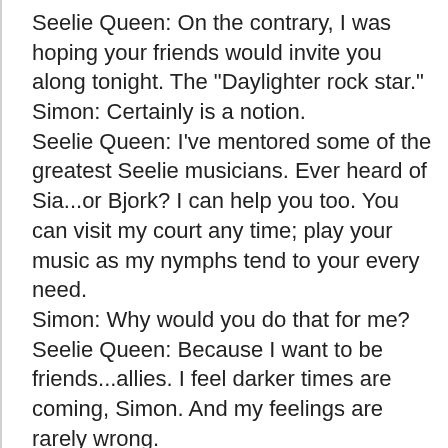Seelie Queen: On the contrary, I was hoping your friends would invite you along tonight. The "Daylighter rock star."
Simon: Certainly is a notion.
Seelie Queen: I've mentored some of the greatest Seelie musicians. Ever heard of Sia...or Bjork? I can help you too. You can visit my court any time; play your music as my nymphs tend to your every need.
Simon: Why would you do that for me?
Seelie Queen: Because I want to be friends...allies. I feel darker times are coming, Simon. And my feelings are rarely wrong.